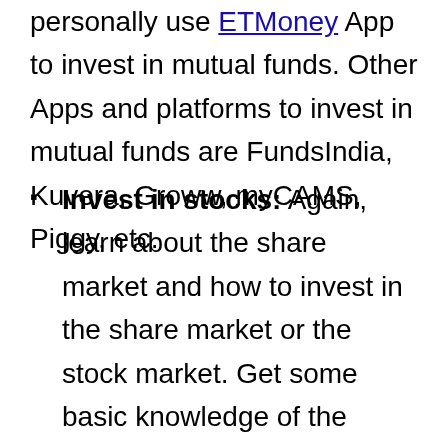through a website or mobile app. I personally use ETMoney App to invest in mutual funds. Other Apps and platforms to invest in mutual funds are FundsIndia, Kuvera, Groww, myCAMS, Piggy, etc.
Invest in stocks: Again, learn about the share market and how to invest in the share market or the stock market. Get some basic knowledge of the share market and start investing. Investment in the share market could be your best decision as this is highly rewarding. You can invest in the share market with Sharekhan, Moneycontrol, 5paisa.com,